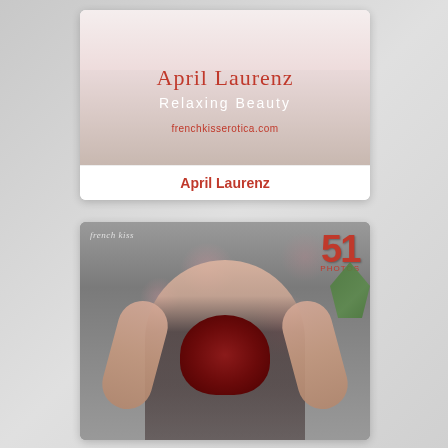[Figure (photo): Top promotional card for April Laurenz 'Relaxing Beauty' photo set from frenchkisserotica.com, showing a light/pink-toned background with the model's legs visible at top]
April Laurenz
April Laurenz
[Figure (photo): Second card showing a tattooed red-haired model posing in black lingerie harness, with bokeh bokeh background, plants, and '51 PHOTOS' text overlay in red. Logo 'french kiss' in top left corner.]